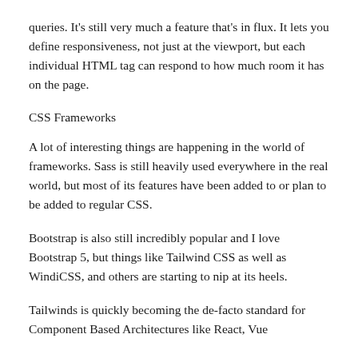queries. It's still very much a feature that's in flux. It lets you define responsiveness, not just at the viewport, but each individual HTML tag can respond to how much room it has on the page.
CSS Frameworks
A lot of interesting things are happening in the world of frameworks. Sass is still heavily used everywhere in the real world, but most of its features have been added to or plan to be added to regular CSS.
Bootstrap is also still incredibly popular and I love Bootstrap 5, but things like Tailwind CSS as well as WindiCSS, and others are starting to nip at its heels.
Tailwinds is quickly becoming the de-facto standard for Component Based Architectures like React, Vue